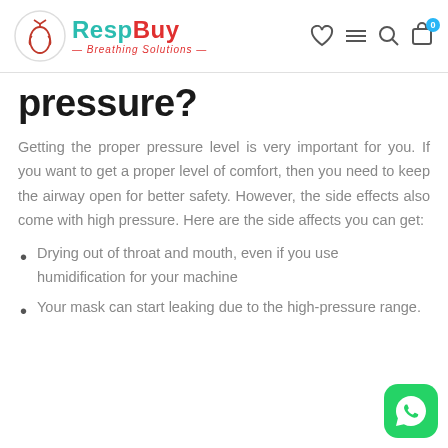RespBuy — Breathing Solutions
pressure?
Getting the proper pressure level is very important for you. If you want to get a proper level of comfort, then you need to keep the airway open for better safety. However, the side effects also come with high pressure. Here are the side affects you can get:
Drying out of throat and mouth, even if you use humidification for your machine
Your mask can start leaking due to the high-pressure range.